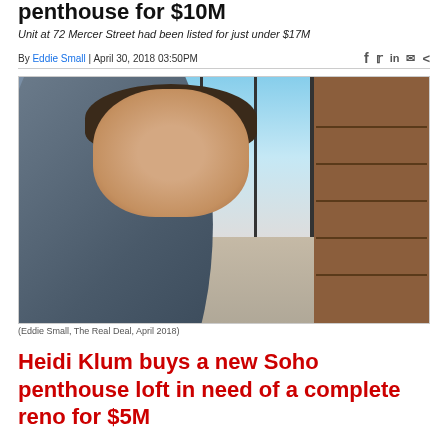penthouse for $10M
Unit at 72 Mercer Street had been listed for just under $17M
By Eddie Small | April 30, 2018 03:50PM
[Figure (photo): Photo composite of a man in a suit overlaid on a luxury Soho penthouse interior with floor-to-ceiling windows and a tall wooden bookshelf]
(Eddie Small, The Real Deal, April 2018)
Heidi Klum buys a new Soho penthouse loft in need of a complete reno for $5M